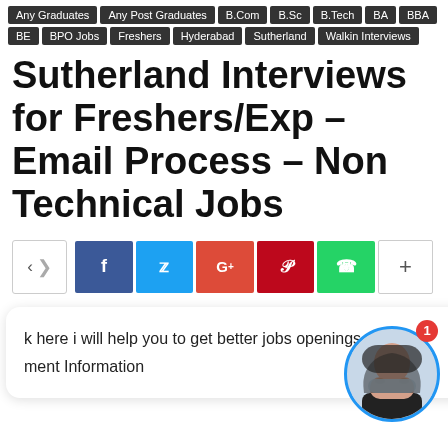Any Graduates | Any Post Graduates | B.Com | B.Sc | B.Tech | BA | BBA | BE | BPO Jobs | Freshers | Hyderabad | Sutherland | Walkin Interviews
Sutherland Interviews for Freshers/Exp – Email Process – Non Technical Jobs
[Figure (infographic): Social share bar with native share button, Facebook, Twitter, Google+, Pinterest, WhatsApp, and more (+) buttons]
k here i will help you to get better jobs openings
ment Information
[Figure (photo): Chat widget with avatar of a woman wearing a mask, with a red notification badge showing 1]